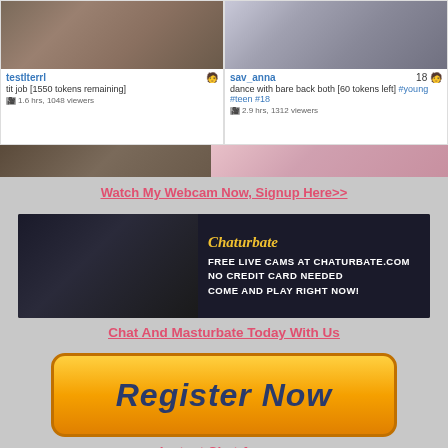[Figure (screenshot): Webcam grid showing two live stream cards: testlterrl with 'tit job [1550 tokens remaining]', 1.6 hrs 1048 viewers; sav_anna age 18, 'dance with bare back both [60 tokens left] #young #teen #18', 2.9 hrs 1312 viewers. Below are two more partially visible stream thumbnails.]
Watch My Webcam Now, Signup Here>>
[Figure (photo): Chaturbate banner ad: FREE LIVE CAMS AT CHATURBATE.COM NO CREDIT CARD NEEDED COME AND PLAY RIGHT NOW!]
Chat And Masturbate Today With Us
[Figure (other): Orange gradient Register Now button]
Instant Chat Access